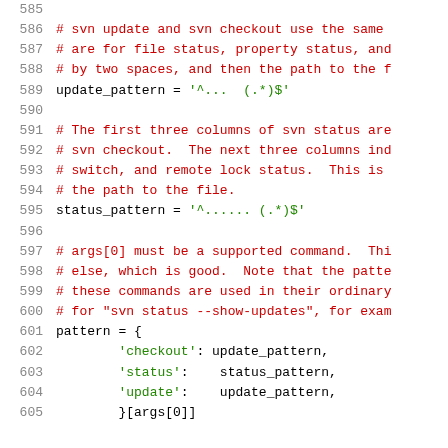Source code listing lines 585-605 (Python SVN helper)